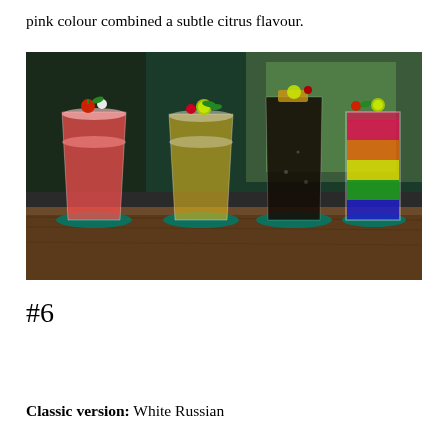pink colour combined a subtle citrus flavour.
[Figure (photo): Four colorful cocktails in tall glasses sitting on teal coasters on a wooden bar surface. Left to right: a pink/red drink with strawberry garnish, a yellow drink with lime and cherry garnish, a dark brown/cola drink with lime and fruit garnish, and a layered rainbow drink with strawberry garnish. Background shows dark green foliage out of focus.]
#6
Classic version: White Russian